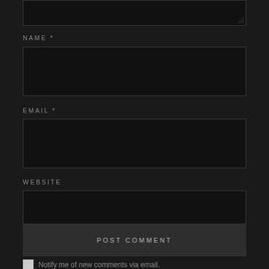[Figure (screenshot): Top portion of a comment form text area input box, dark theme, with resize handle at bottom-right corner]
NAME *
[Figure (screenshot): Empty text input field for NAME, dark background with dark border]
EMAIL *
[Figure (screenshot): Empty text input field for EMAIL, dark background with dark border]
WEBSITE
[Figure (screenshot): Empty text input field for WEBSITE, dark background with dark border]
[Figure (screenshot): POST COMMENT button, dark grey background with spaced uppercase text]
Notify me of new comments via email.